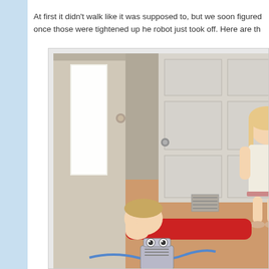At first it didn't walk like it was supposed to, but we soon figured out once those were tightened up he robot just took off. Here are th
[Figure (photo): A photo of two children near a door. A boy in a red shirt is lying on the hardwood floor looking at a small robot with googly eyes connected to a blue wire. A girl in a white dress stands near a white interior door.]